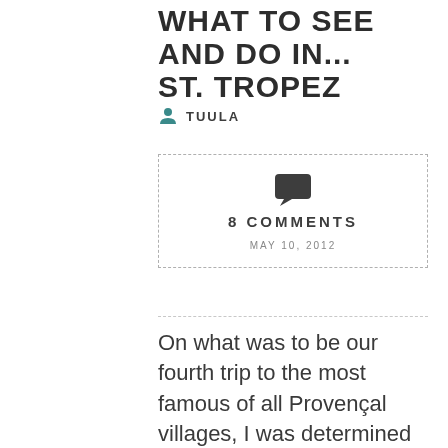WHAT TO SEE AND DO IN... ST. TROPEZ
TUULA
[Figure (infographic): Comment box with chat bubble icon showing 8 COMMENTS and date MAY 10, 2012, enclosed in a dashed border rectangle]
On what was to be our fourth trip to the most famous of all Provençal villages, I was determined to get our weekend visit to St. Tropez "right". Past trips had been memorable for all